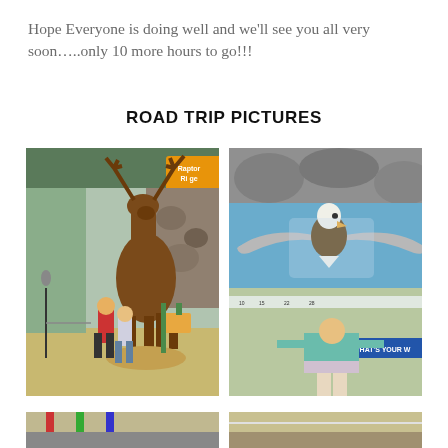Hope Everyone is doing well and we’ll see you all very soon…..only 10 more hours to go!!!
ROAD TRIP PICTURES
[Figure (photo): Two children posing next to a large moose taxidermy exhibit inside a nature museum. A sign reading 'Raptor Ridge' is visible in the background.]
[Figure (photo): A young girl posing with arms outstretched in front of a large bald eagle display/mural. Text reading 'WHAT'S YOUR W' is visible. The exhibit appears to be a wingspan comparison display.]
[Figure (photo): Partial view of another road trip photo, bottom left, showing colorful structures.]
[Figure (photo): Partial view of another road trip photo, bottom right.]